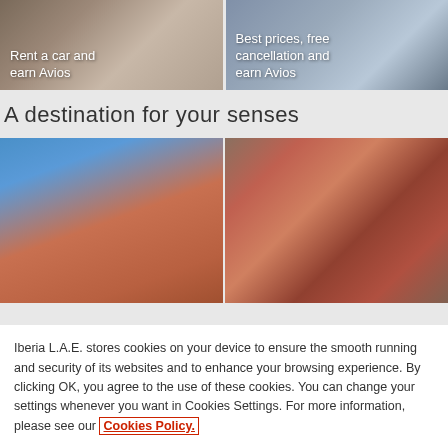[Figure (photo): Photo of a person in a car, with overlay text 'Rent a car and earn Avios']
[Figure (photo): Photo of a hotel or beach destination, with overlay text 'Best prices, free cancellation and earn Avios']
A destination for your senses
[Figure (photo): Photo of a red multi-story building with balconies against a blue sky]
[Figure (photo): Photo of colorful clothes on a clothing rack]
Iberia L.A.E. stores cookies on your device to ensure the smooth running and security of its websites and to enhance your browsing experience. By clicking OK, you agree to the use of these cookies. You can change your settings whenever you want in Cookies Settings. For more information, please see our Cookies Policy.